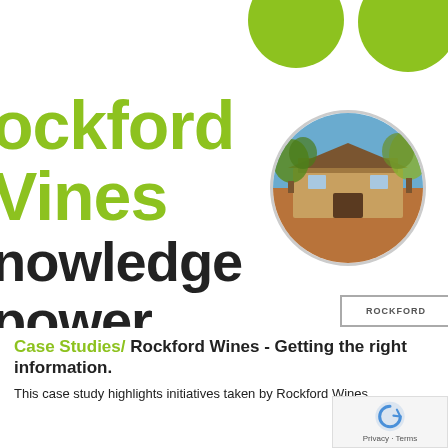[Figure (illustration): Decorative green circles (top right) and a circular cropped photo of a winery building with trees and blue sky, serving as the header graphic for Rockford Wines case study page]
Rockford Wines knowledge power
[Figure (other): Small card with text ROCKFORD in the bottom right of the header image area]
Case Studies/ Rockford Wines - Getting the right information.
This case study highlights initiatives taken by Rockford Wines...